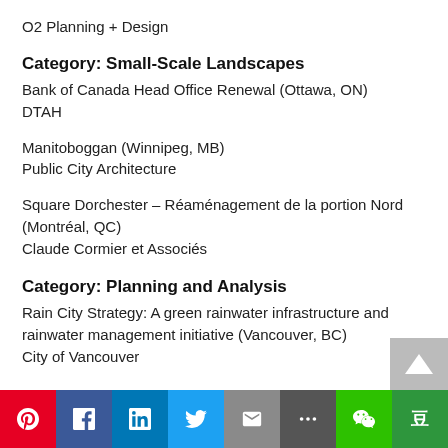O2 Planning + Design
Category: Small-Scale Landscapes
Bank of Canada Head Office Renewal (Ottawa, ON)
DTAH
Manitoboggan (Winnipeg, MB)
Public City Architecture
Square Dorchester – Réaménagement de la portion Nord (Montréal, QC)
Claude Cormier et Associés
Category: Planning and Analysis
Rain City Strategy: A green rainwater infrastructure and rainwater management initiative (Vancouver, BC)
City of Vancouver